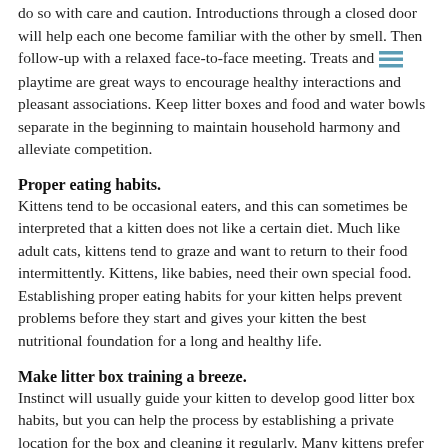do so with care and caution. Introductions through a closed door will help each one become familiar with the other by smell. Then follow-up with a relaxed face-to-face meeting. Treats and playtime are great ways to encourage healthy interactions and pleasant associations. Keep litter boxes and food and water bowls separate in the beginning to maintain household harmony and alleviate competition.
Proper eating habits.
Kittens tend to be occasional eaters, and this can sometimes be interpreted that a kitten does not like a certain diet. Much like adult cats, kittens tend to graze and want to return to their food intermittently. Kittens, like babies, need their own special food. Establishing proper eating habits for your kitten helps prevent problems before they start and gives your kitten the best nutritional foundation for a long and healthy life.
Make litter box training a breeze.
Instinct will usually guide your kitten to develop good litter box habits, but you can help the process by establishing a private location for the box and cleaning it regularly. Many kittens prefer a smaller box with low walls, and then you can help them work up